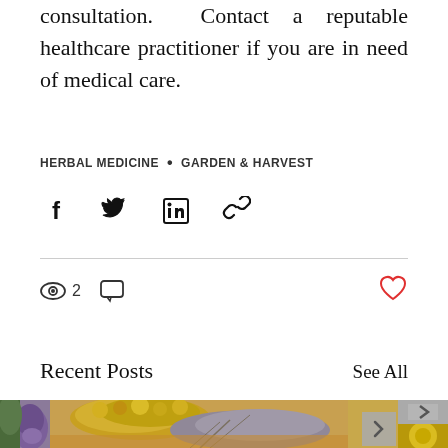consultation. Contact a reputable healthcare practitioner if you are in need of medical care.
HERBAL MEDICINE • GARDEN & HARVEST
[Figure (infographic): Social share icons: Facebook, Twitter, LinkedIn, link/chain icon]
[Figure (infographic): Engagement stats row: eye icon with count 2, comment bubble icon, heart/like icon (red outline)]
Recent Posts
See All
[Figure (photo): Photo of dried herbs including yellow flowers (tansy/chamomile) and lavender bunches on a wooden surface; partially visible purple flower on left edge and yellow flower on right edge]